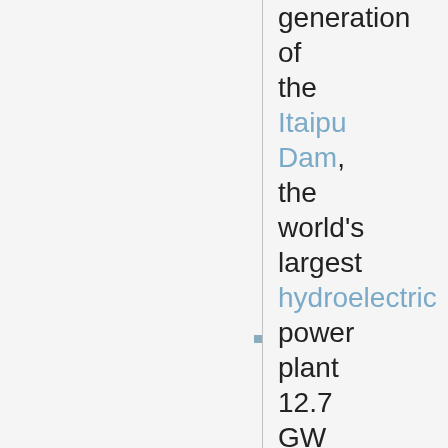generation of the Itaipu Dam, the world's largest hydroelectric power plant 12.7 GW - Geo: average